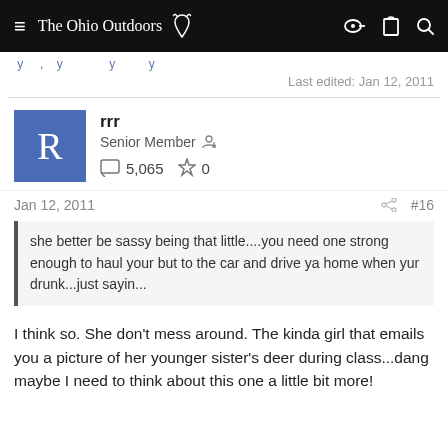The Ohio Outdoors
Last edited: Jan 12, 2011
rrr
Senior Member
5,065   0
Jan 12, 2011   #16
she better be sassy being that little....you need one strong enough to haul your but to the car and drive ya home when yur drunk...just sayin...
I think so. She don't mess around. The kinda girl that emails you a picture of her younger sister's deer during class...dang maybe I need to think about this one a little bit more!